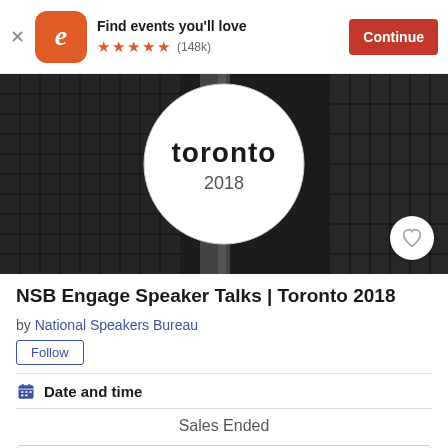[Figure (screenshot): Eventbrite app banner with logo, 'Find events you'll love', 5 orange stars, (148k) reviews, and orange Continue button]
[Figure (photo): Black and white photo of Toronto cityscape with the word 'toronto' and '2018' in a circular overlay. Heart/favorite icon in bottom right.]
NSB Engage Speaker Talks | Toronto 2018
by National Speakers Bureau
Follow
Date and time
Sales Ended
Details